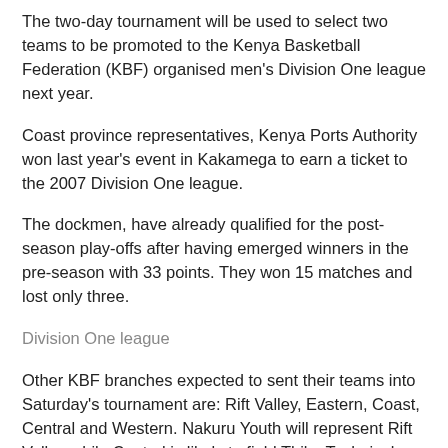The two-day tournament will be used to select two teams to be promoted to the Kenya Basketball Federation (KBF) organised men's Division One league next year.
Coast province representatives, Kenya Ports Authority won last year's event in Kakamega to earn a ticket to the 2007 Division One league.
The dockmen, have already qualified for the post-season play-offs after having emerged winners in the pre-season with 33 points. They won 15 matches and lost only three.
Division One league
Other KBF branches expected to sent their teams into Saturday's tournament are: Rift Valley, Eastern, Coast, Central and Western. Nakuru Youth will represent Rift Valley while Central is likely to field Thika Technical.
The two finalists will qualify to take up the two slots in next year's Division One league. Two teams are expected to be dropped from this year's lower competition which attracted